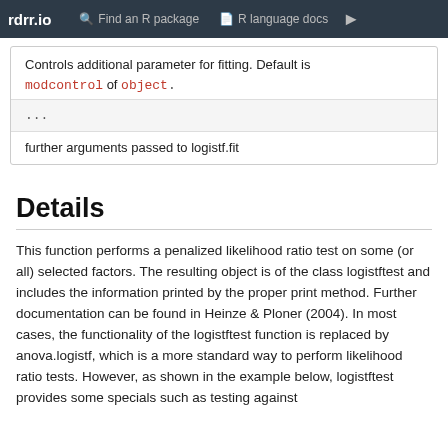rdrr.io   Find an R package   R language docs
Controls additional parameter for fitting. Default is modcontrol of object .
...
further arguments passed to logistf.fit
Details
This function performs a penalized likelihood ratio test on some (or all) selected factors. The resulting object is of the class logistftest and includes the information printed by the proper print method. Further documentation can be found in Heinze & Ploner (2004). In most cases, the functionality of the logistftest function is replaced by anova.logistf, which is a more standard way to perform likelihood ratio tests. However, as shown in the example below, logistftest provides some specials such as testing against